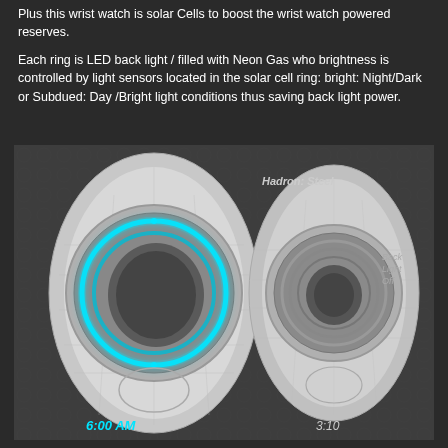Plus this wrist watch is solar Cells to boost the wrist watch powered reserves.
Each ring is LED back light / filled with Neon Gas who brightness is controlled by light sensors located in the solar cell ring: bright: Night/Dark or Subdued: Day /Bright light conditions thus saving back light power.
[Figure (illustration): 3D render of two futuristic wristwatch concepts labeled 'Hadron: Steel'. The left watch shows glowing cyan/teal LED rings around the face with time 6:00 AM displayed. The right watch shows the same design with back light off, displaying time 3:10. Both watches have a distinctive oval ring face design with segmented band.]